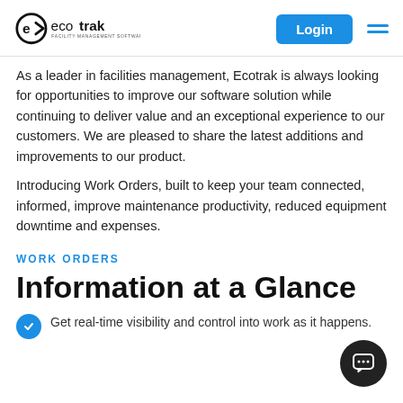ecotrak FACILITY MANAGEMENT SOFTWARE | Login
As a leader in facilities management, Ecotrak is always looking for opportunities to improve our software solution while continuing to deliver value and an exceptional experience to our customers. We are pleased to share the latest additions and improvements to our product.
Introducing Work Orders, built to keep your team connected, informed, improve maintenance productivity, reduced equipment downtime and expenses.
WORK ORDERS
Information at a Glance
Get real-time visibility and control into work as it happens.